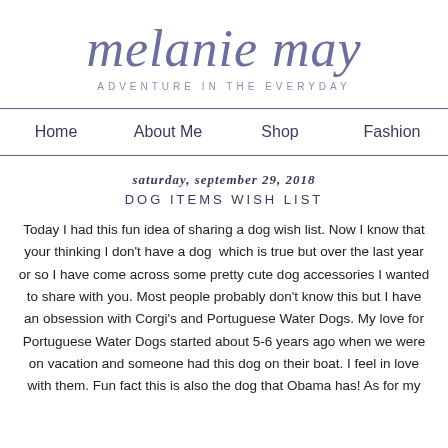melanie may
ADVENTURE IN THE EVERYDAY
Home   About Me   Shop   Fashion
saturday, september 29, 2018
DOG ITEMS WISH LIST
Today I had this fun idea of sharing a dog wish list. Now I know that your thinking I don't have a dog  which is true but over the last year or so I have come across some pretty cute dog accessories I wanted to share with you. Most people probably don't know this but I have an obsession with Corgi's and Portuguese Water Dogs. My love for Portuguese Water Dogs started about 5-6 years ago when we were on vacation and someone had this dog on their boat. I feel in love with them. Fun fact this is also the dog that Obama has! As for my